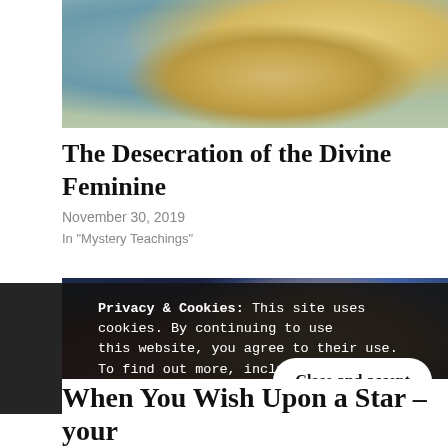[Figure (photo): Partial view of a classical painting (Birth of Venus by Botticelli) showing a large shell and flowing figures against a teal-blue background]
The Desecration of the Divine Feminine
November 30, 2019
In "Mystery Teachings"
[Figure (photo): Screenshot from Disney's Pinocchio animated film showing Pinocchio smiling and Jiminy Cricket in the background]
Privacy & Cookies: This site uses cookies. By continuing to use this website, you agree to their use.
To find out more, including how to cont Cookie Policy
When You Wish Upon a Star – your